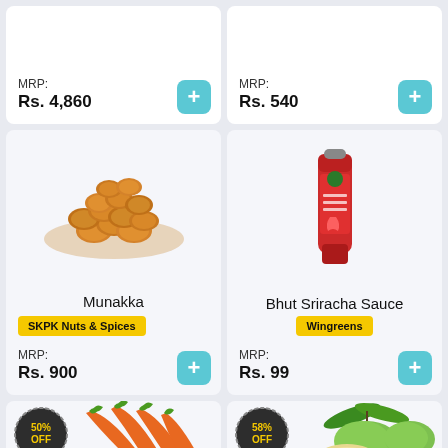MRP: Rs. 4,860
MRP: Rs. 540
[Figure (photo): Munakka (dried raisins/grapes) product image]
Munakka
SKPK Nuts & Spices
MRP: Rs. 900
[Figure (photo): Bhut Sriracha Sauce red tube product image]
Bhut Sriracha Sauce
Wingreens
MRP: Rs. 99
[Figure (photo): Carrots with 50% OFF badge]
[Figure (photo): Green mangoes with 58% OFF badge]